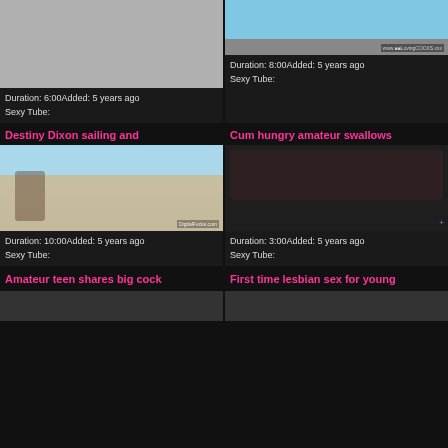[Figure (photo): Gray placeholder thumbnail - top left video]
Duration: 6:00Added: 5 years ago
Sexy Tube:
[Figure (photo): Top right video thumbnail showing person near pool]
Duration: 8:00Added: 5 years ago
Sexy Tube:
Destiny Dixon sailing and
[Figure (photo): Sailing boat scene thumbnail]
Duration: 10:00Added: 5 years ago
Sexy Tube:
Cum hungry amateur swallows
[Figure (photo): Dark interior scene thumbnail]
Duration: 3:00Added: 5 years ago
Sexy Tube:
Amateur teen shares big cock
First time lesbian sex for young